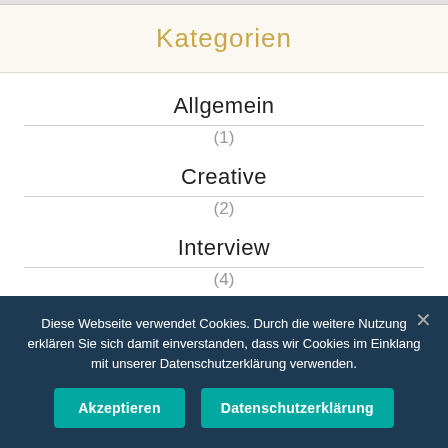Kategorien
Allgemein (1)
Creative (2)
Interview (4)
Diese Webseite verwendet Cookies. Durch die weitere Nutzung erklären Sie sich damit einverstanden, dass wir Cookies im Einklang mit unserer Datenschutzerklärung verwenden.